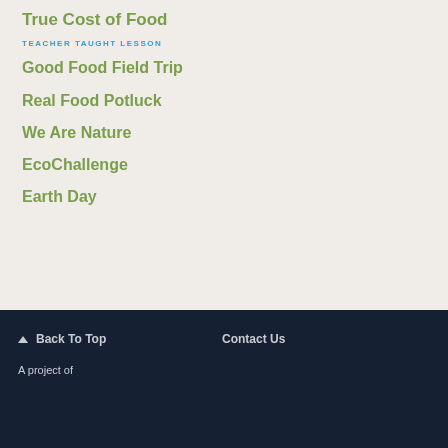True Cost of Food
TEACHER TAUGHT LESSON
Good Food Field Trip
Real Food Potluck
We Are Nature
EcoChallenge
Earth Day
Back To Top   Contact Us   A project of